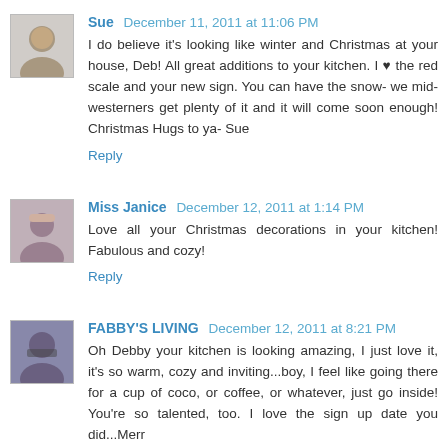Sue  December 11, 2011 at 11:06 PM
I do believe it's looking like winter and Christmas at your house, Deb! All great additions to your kitchen. I ♥ the red scale and your new sign. You can have the snow- we mid-westerners get plenty of it and it will come soon enough! Christmas Hugs to ya- Sue
Reply
Miss Janice  December 12, 2011 at 1:14 PM
Love all your Christmas decorations in your kitchen! Fabulous and cozy!
Reply
FABBY'S LIVING  December 12, 2011 at 8:21 PM
Oh Debby your kitchen is looking amazing, I just love it, it's so warm, cozy and inviting...boy, I feel like going there for a cup of coco, or coffee, or whatever, just go inside! You're so talented, too. I love the sign up date you did...Merry...